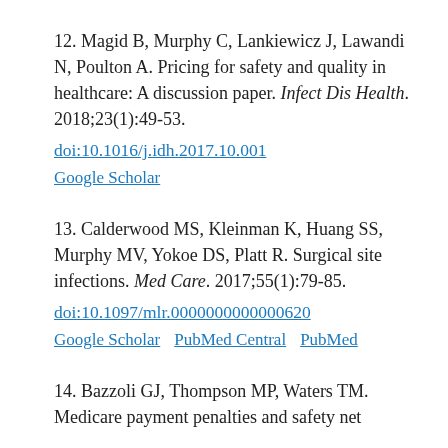12. Magid B, Murphy C, Lankiewicz J, Lawandi N, Poulton A. Pricing for safety and quality in healthcare: A discussion paper. Infect Dis Health. 2018;23(1):49-53. doi:10.1016/j.idh.2017.10.001 Google Scholar
13. Calderwood MS, Kleinman K, Huang SS, Murphy MV, Yokoe DS, Platt R. Surgical site infections. Med Care. 2017;55(1):79-85. doi:10.1097/mlr.0000000000000620 Google Scholar PubMed Central PubMed
14. Bazzoli GJ, Thompson MP, Waters TM. Medicare payment penalties and safety net...